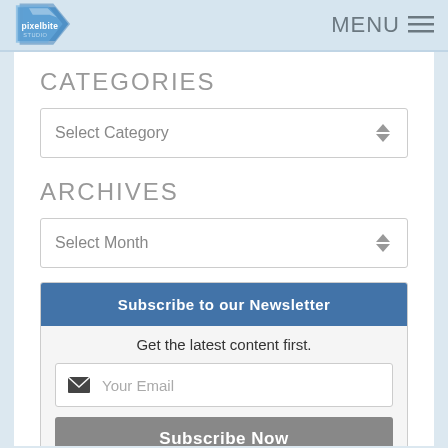[Figure (logo): Pixelbite logo — blue folded paper/arrow shape with 'pixelbite' text in white]
MENU ≡
CATEGORIES
Select Category
ARCHIVES
Select Month
Subscribe to our Newsletter
Get the latest content first.
Your Email
Subscribe Now
We respect your privacy.